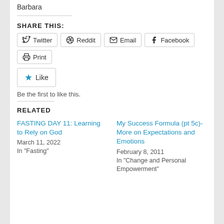Barbara
SHARE THIS:
Twitter | Reddit | Email | Facebook | Print
Like
Be the first to like this.
RELATED
FASTING DAY 11: Learning to Rely on God
March 11, 2022
In "Fasting"
My Success Formula (pt 5c)- More on Expectations and Emotions
February 8, 2011
In "Change and Personal Empowerment"